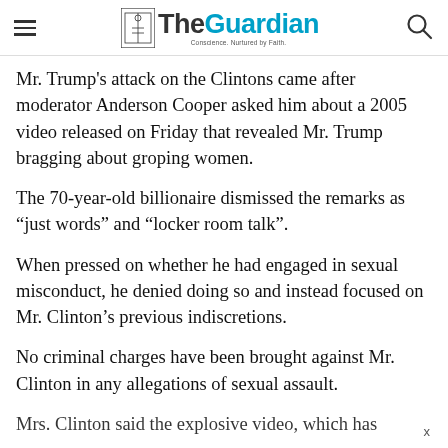The Guardian
Mr. Trump’s attack on the Clintons came after moderator Anderson Cooper asked him about a 2005 video released on Friday that revealed Mr. Trump bragging about groping women.
The 70-year-old billionaire dismissed the remarks as “just words” and “locker room talk”.
When pressed on whether he had engaged in sexual misconduct, he denied doing so and instead focused on Mr. Clinton’s previous indiscretions.
No criminal charges have been brought against Mr. Clinton in any allegations of sexual assault.
Mrs. Clinton said the explosive video, which has